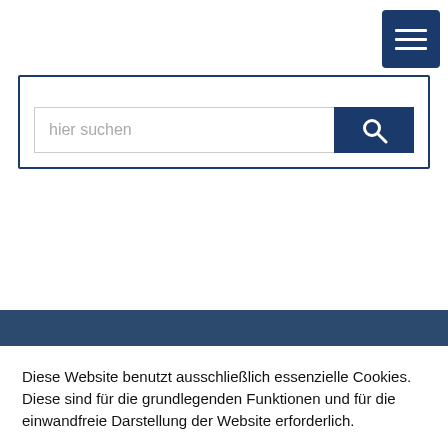[Figure (screenshot): Navigation menu button (hamburger icon) — three white horizontal lines on dark blue square background, top-right corner]
[Figure (screenshot): Search box with placeholder text 'hier suchen' and a dark blue search button with magnifying glass icon, inside a dark blue bordered container]
[Figure (screenshot): Dark navy blue horizontal banner bar spanning full width]
Diese Website benutzt ausschließlich essenzielle Cookies. Diese sind für die grundlegenden Funktionen und für die einwandfreie Darstellung der Website erforderlich.
[Figure (screenshot): OK button — white text on dark blue background]